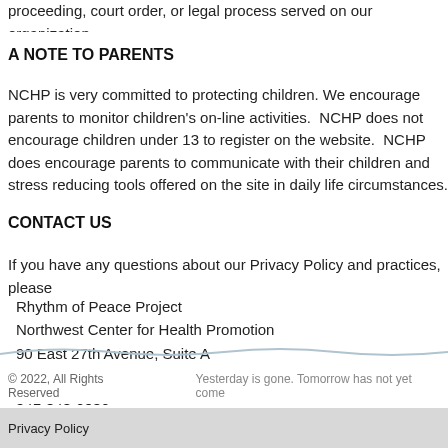we believe in good faith that the law requires it for the protection of our legal rights, proceeding, court order, or legal process served on our organization.
A NOTE TO PARENTS
NCHP is very committed to protecting children. We encourage parents to monitor children's on-line activities. NCHP does not encourage children under 13 to register on the website. NCHP does encourage parents to communicate with their children and stress reducing tools offered on the site in daily life circumstances.
CONTACT US
If you have any questions about our Privacy Policy and practices, please contact us at:
Rhythm of Peace Project
Northwest Center for Health Promotion
90 East 27th Avenue, Suite A
Eugene, Oregon  97405
541-343-0536
info@rhythmofpeace.org
© 2022, All Rights Reserved   Yesterday is gone. Tomorrow has not yet come
Privacy Policy